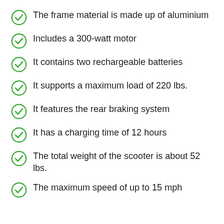The frame material is made up of aluminium
Includes a 300-watt motor
It contains two rechargeable batteries
It supports a maximum load of 220 lbs.
It features the rear braking system
It has a charging time of 12 hours
The total weight of the scooter is about 52 lbs.
The maximum speed of up to 15 mph